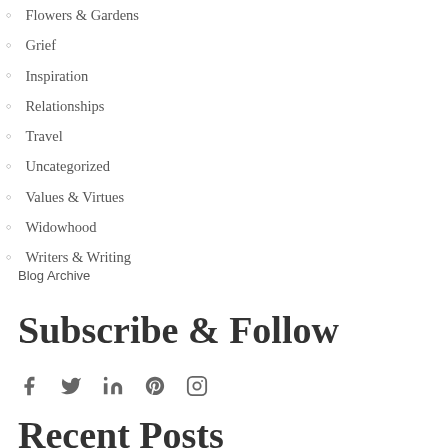Flowers & Gardens
Grief
Inspiration
Relationships
Travel
Uncategorized
Values & Virtues
Widowhood
Writers & Writing
Blog Archive
Subscribe & Follow
[Figure (other): Social media icons: Facebook, Twitter, LinkedIn, Pinterest, Instagram]
Recent Posts